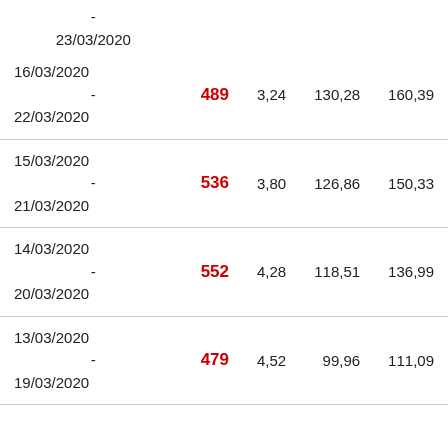| -
23/03/2020 |  |  |  |  |
| 16/03/2020
-
22/03/2020 | 489 | 3,24 | 130,28 | 160,39 |
| 15/03/2020
-
21/03/2020 | 536 | 3,80 | 126,86 | 150,33 |
| 14/03/2020
-
20/03/2020 | 552 | 4,28 | 118,51 | 136,99 |
| 13/03/2020
-
19/03/2020 | 479 | 4,52 | 99,96 | 111,09 |